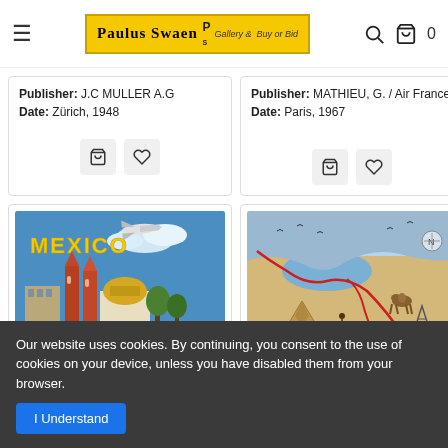Paulus Swaen Gallery & Buy or Bid
Publisher: J.C MULLER A.G
Date: Zürich, 1948
Publisher: MATHIEU, G. / Air France
Date: Paris, 1967
[Figure (photo): Mexico vintage travel poster showing cathedral, dome building, and airplane in blue sky]
[Figure (map): Vintage pictorial map showing desert landscape with routes, camels, and illustrated scenes]
Our website uses cookies. By continuing, you consent to the use of cookies on your device, unless you have disabled them from your browser.